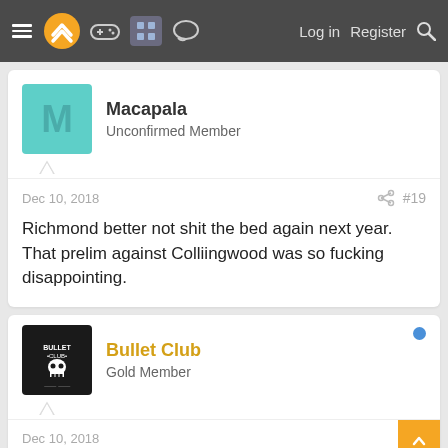Navigation bar with hamburger menu, logo, icons, Log in, Register, Search
Macapala
Unconfirmed Member
Dec 10, 2018
#19
Richmond better not shit the bed again next year. That prelim against Colliingwood was so fucking disappointing.
Bullet Club
Gold Member
Dec 10, 2018
Macapala said:
That prelim against Colliingwood was so fucking disappointing.